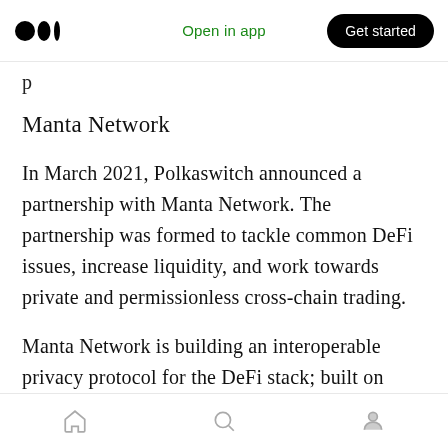Open in app | Get started
p
Manta Network
In March 2021, Polkaswitch announced a partnership with Manta Network. The partnership was formed to tackle common DeFi issues, increase liquidity, and work towards private and permissionless cross-chain trading.
Manta Network is building an interoperable privacy protocol for the DeFi stack; built on Substrate, it leverages zk-SNARKs to provide scalable and private trading and transactions. It
Home | Search | Profile